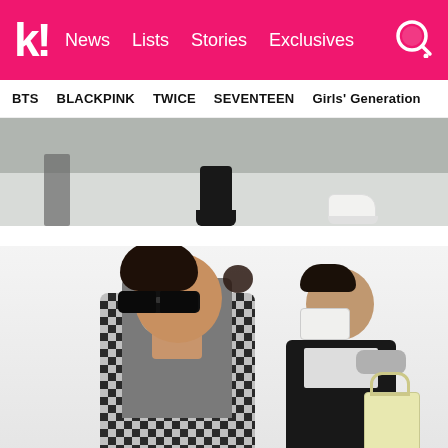k! News Lists Stories Exclusives
BTS  BLACKPINK  TWICE  SEVENTEEN  Girls' Generation
[Figure (photo): Close-up of feet and shoes on a light floor — black boot in center, white sneaker on the right, partial person on the left]
[Figure (photo): A woman wearing dark sunglasses, a plaid black-and-white jacket over a grey turtleneck, with a necklace, walking. Behind her is a man in a black outfit wearing a white face mask, carrying a light yellow tote bag.]